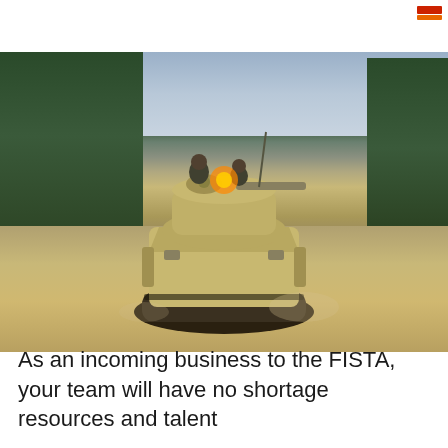[Figure (photo): Military Bradley Fighting Vehicle (armored personnel carrier/IFV) on a dirt road, approaching head-on, with soldiers visible in the turret. Dense green trees in background on left, open road and dusty terrain visible. Taken at dusk/dawn with dramatic lighting including orange glow from turret area.]
As an incoming business to the FISTA, your team will have no shortage resources and talent